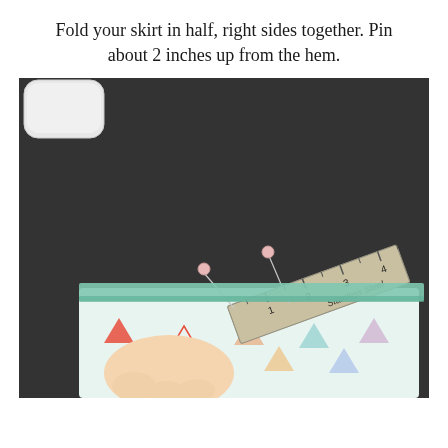Fold your skirt in half, right sides together. Pin about 2 inches up from the hem.
[Figure (photo): Photo of hands holding a folded piece of fabric with a colorful geometric triangle pattern, with two sewing pins inserted and a stainless steel ruler measuring approximately 2 inches from the hem. A white rounded-corner device (Apple Magic Mouse) is visible in the upper left corner on a dark surface.]